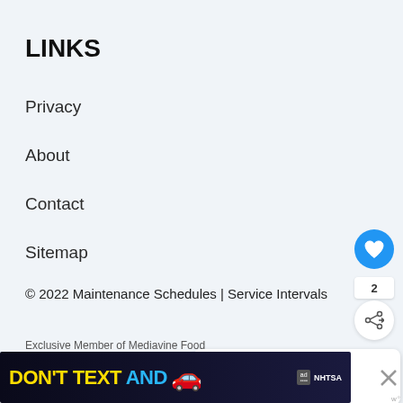LINKS
Privacy
About
Contact
Sitemap
© 2022 Maintenance Schedules | Service Intervals
Exclusive Member of Mediavine Food
[Figure (screenshot): DON'T TEXT AND [car emoji] advertisement banner with NHTSA ad label]
[Figure (infographic): What's Next panel showing Ducati Multistrada... with motorcycle image]
[Figure (other): Heart/like button (blue circle with heart icon), share count badge showing 2, and share button (white circle with share icon)]